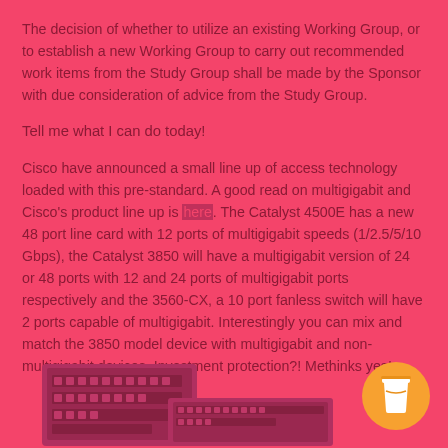The decision of whether to utilize an existing Working Group, or to establish a new Working Group to carry out recommended work items from the Study Group shall be made by the Sponsor with due consideration of advice from the Study Group.
Tell me what I can do today!
Cisco have announced a small line up of access technology loaded with this pre-standard. A good read on multigigabit and Cisco's product line up is here. The Catalyst 4500E has a new 48 port line card with 12 ports of multigigabit speeds (1/2.5/5/10 Gbps), the Catalyst 3850 will have a multigigabit version of 24 or 48 ports with 12 and 24 ports of multigigabit ports respectively and the 3560-CX, a 10 port fanless switch will have 2 ports capable of multigigabit. Interestingly you can mix and match the 3850 model device with multigigabit and non-multigigabit devices. Investment protection?! Methinks yes!
[Figure (photo): Two networking device images (Cisco switches) at the bottom of the page with an orange coffee cup button icon in the bottom right corner.]